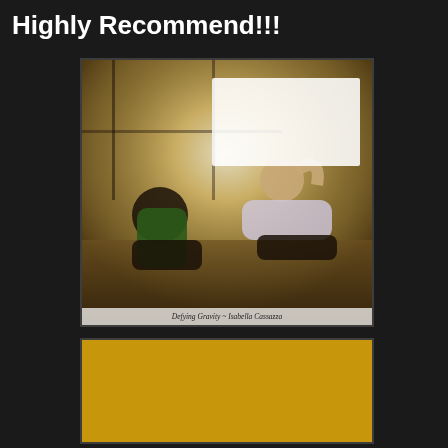Highly Recommend!!!
[Figure (illustration): A fitness/gym scene showing a man and woman doing sit-up exercises together, with bright light from windows in the background. Overlaid with a quote from 'Defying Gravity' by Isabella Cassazza: 'Yesterday I thought my relationship had come to a dead end, but now I'm full of hope again. All because of a pint-sized woman. All because of Lily.']
[Figure (illustration): A golden/yellow banner image with bold italic text beginning: 'I'm drawn to both like a moth is drawn to the...']